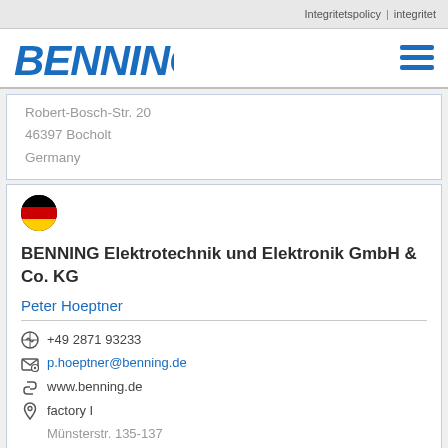Integritetspolicy | integritet
[Figure (logo): BENNING logo in blue italic bold font with hamburger menu icon]
Robert-Bosch-Str. 20
46397 Bocholt
Germany
[Figure (illustration): German flag circular icon]
BENNING Elektrotechnik und Elektronik GmbH & Co. KG
Peter Hoeptner
+49 2871 93233
p.hoeptner@benning.de
www.benning.de
factory I
Münsterstr. 135-137
factory II
Robert-Bosch-Str. 20